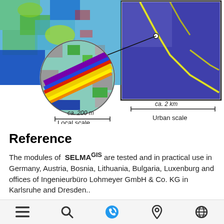[Figure (map): Scientific map showing urban and local scale views. Left side shows a zoomed-in circular inset labeled 'Local scale' with ca. 200 m scale bar, showing colored land use grid with purple/blue/yellow/red bands on teal background. Right side shows a larger square map area labeled 'Urban scale' with ca. 2 km scale bar, showing a dot-pattern urban map with blue, purple and yellow features. A line connects the inset to the larger map.]
Reference
The modules of SELMAᴳᴵₛ are tested and in practical use in Germany, Austria, Bosnia, Lithuania, Bulgaria, Luxenburg and offices of Ingenieurbüro Lohmeyer GmbH & Co. KG in Karlsruhe and Dresden..
Navigation icons: menu, search, phone, location, globe